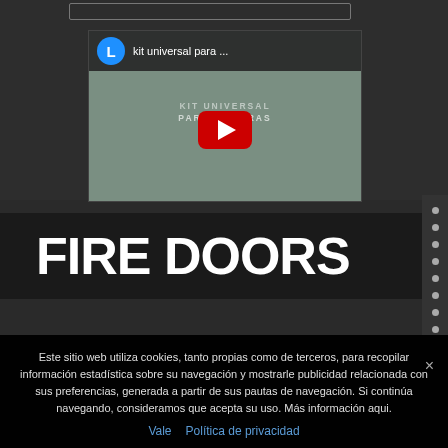[Figure (screenshot): YouTube video thumbnail showing 'kit universal para...' with a blue avatar with letter L, red play button, and text KIT UNIVERSAL PARA TIERAS overlaid on gray background]
FIRE DOORS
Este sitio web utiliza cookies, tanto propias como de terceros, para recopilar información estadística sobre su navegación y mostrarle publicidad relacionada con sus preferencias, generada a partir de sus pautas de navegación. Si continúa navegando, consideramos que acepta su uso. Más información aqui.
Vale  Política de privacidad